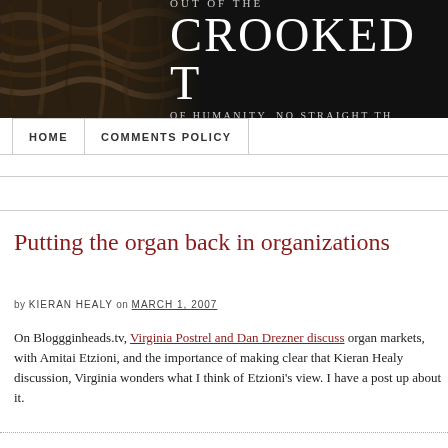[Figure (screenshot): Blog header banner for 'Out of the Crooked Timber' with wood texture on left and text on dark background]
Out of the
CROOKED T[IMBER]
OF HUMANITY, NO STRAIGHT TH[ING]
HOME   COMMENTS POLICY
Putting the organ back in organizations
by KIERAN HEALY on MARCH 1, 2007
On Bloggginheads.tv, Virginia Postrel and Dan Drezner discuss organ mar[ket debates] with Amitai Etzioni, and the importance of making clear that Kieran Heal[y...] discussion, Virginia wonders what I think of Etzioni's view. I have a post u[p about] it.